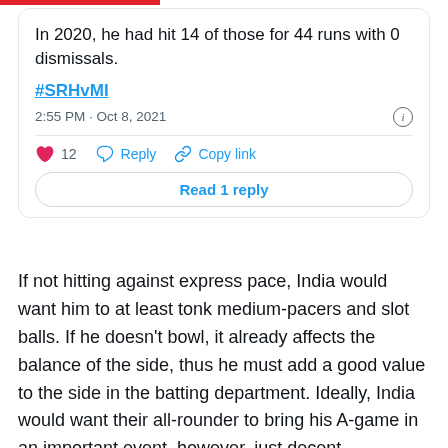[Figure (screenshot): Tweet card showing: 'In 2020, he had hit 14 of those for 44 runs with 0 dismissals.' with hashtag #SRHvMI, timestamp 2:55 PM · Oct 8, 2021, 12 likes, Reply, Copy link actions, and Read 1 reply button.]
If not hitting against express pace, India would want him to at least tonk medium-pacers and slot balls. If he doesn't bowl, it already affects the balance of the side, thus he must add a good value to the side in the batting department. Ideally, India would want their all-rounder to bring his A-game in an important event, however, just decent performances would work fine for now.